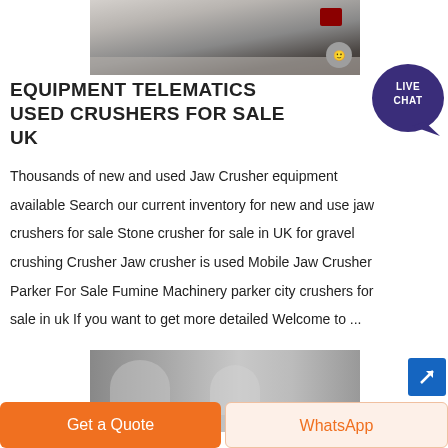[Figure (photo): Aerial or close-up photo of a jaw crusher machine operating on crushed stone/gravel material]
EQUIPMENT TELEMATICS USED CRUSHERS FOR SALE UK
Thousands of new and used Jaw Crusher equipment available Search our current inventory for new and use jaw crushers for sale Stone crusher for sale in UK for gravel crushing Crusher Jaw crusher is used Mobile Jaw Crusher Parker For Sale Fumine Machinery parker city crushers for sale in uk If you want to get more detailed Welcome to ...
[Figure (photo): Close-up photo of crusher machinery parts in grayscale]
Get a Quote
WhatsApp